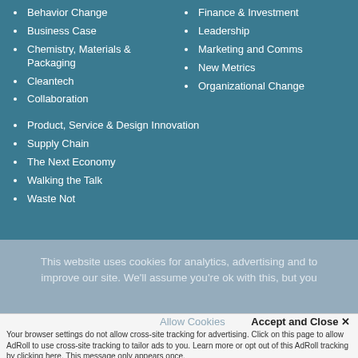Behavior Change
Business Case
Chemistry, Materials & Packaging
Cleantech
Collaboration
Finance & Investment
Leadership
Marketing and Comms
New Metrics
Organizational Change
Product, Service & Design Innovation
Supply Chain
The Next Economy
Walking the Talk
Waste Not
This website uses cookies for analytics, advertising and to improve our site. We'll assume you're ok with this, but you
Accept and Close ✕
Allow Cookies
Your browser settings do not allow cross-site tracking for advertising. Click on this page to allow AdRoll to use cross-site tracking to tailor ads to you. Learn more or opt out of this AdRoll tracking by clicking here. This message only appears once.